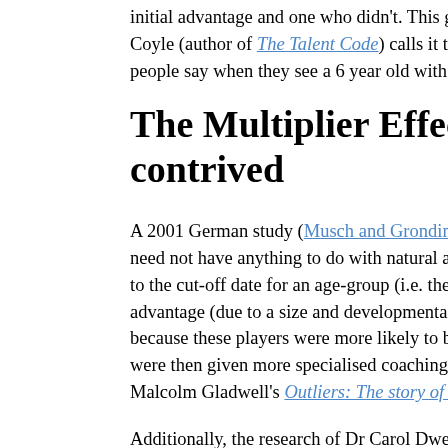initial advantage and one who didn't. This gap can be so surprising to Coyle (author of The Talent Code) calls it the HSE (holy sh#t effect), people say when they see a 6 year old with the skills of a 10 or 12 yea
The Multiplier Effect can be artificially contrived
A 2001 German study (Musch and Grondin, 2001) showed that this i need not have anything to do with natural abilities. They showed that to the cut-off date for an age-group (i.e. the older players in the age-g advantage (due to a size and developmental headstart) that triggered t because these players were more likely to be selected for representati were then given more specialised coaching. This effect is also discus Malcolm Gladwell's Outliers: The story of success.
Additionally, the research of Dr Carol Dweck and Benjamin Bloom h rate of improvement of students can even be influenced solely by the these cases positive feedback and praise for effort (rather than results influenced the desire of children to practice an activity further. In doi created an artificial multiplier effect that caused a subset of the childr skills more quickly than others. This accelerated progress occurred